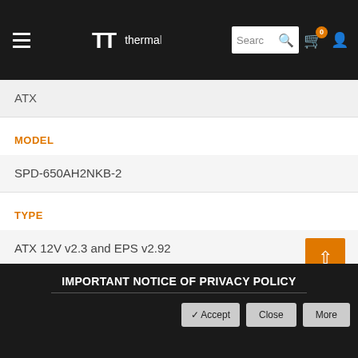Thermaltake website header with hamburger menu, logo, search bar, cart (0), and user icon
ATX
MODEL
SPD-650AH2NKB-2
TYPE
ATX 12V v2.3 and EPS v2.92
MAX. OUTPUT CAPACITY
650W
IMPORTANT NOTICE OF PRIVACY POLICY
✔ Accept   Close   More